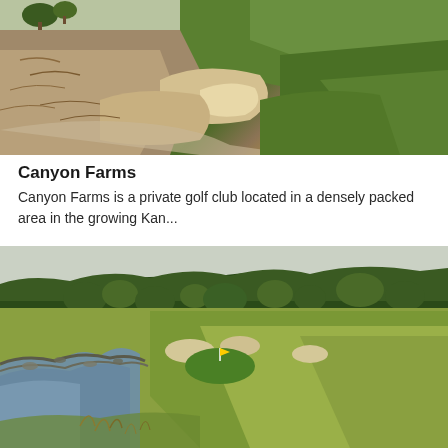[Figure (photo): Aerial view of a golf course with sand bunkers, rough terrain with dry brown grass and sandy soil on the left, and lush green fairways and greens on the right.]
Canyon Farms
Canyon Farms is a private golf club located in a densely packed area in the growing Kan...
[Figure (photo): Landscape view of a golf course with a lake/water hazard on the left with rocky shoreline, lush green and yellow-green fairways, scattered trees, and sand bunkers in the background under a pale sky.]